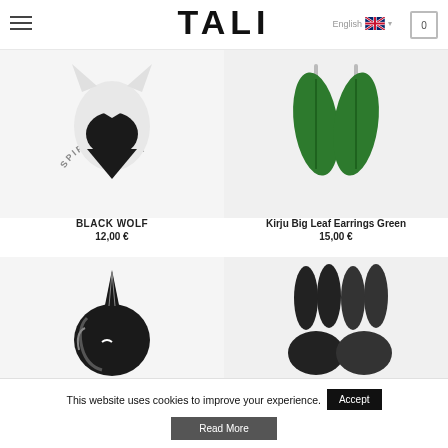TALI — English | 0
[Figure (photo): BLACK WOLF spirit animal pin product image — white and black wolf-shaped brooch on light background with 'SPIRIT ANIMAL' text arched above]
BLACK WOLF
12,00 €
[Figure (photo): Kirju Big Leaf Earrings Green product image — two green leaf-shaped earrings on light background]
Kirju Big Leaf Earrings Green
15,00 €
[Figure (photo): Dark unicorn pin product image — black unicorn head shaped brooch]
[Figure (photo): Dark rabbit earrings product image — two dark bunny ear shaped earrings]
This website uses cookies to improve your experience.
Accept
Read More